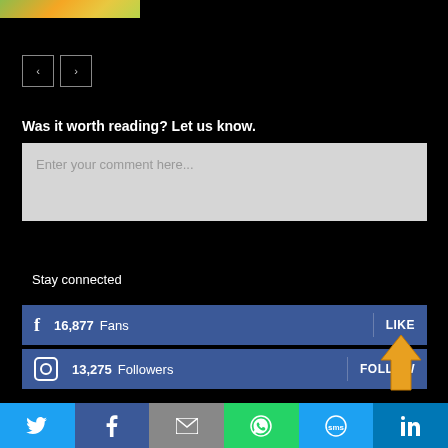[Figure (photo): Partial image visible at top left, colorful with green and orange tones]
[Figure (other): Navigation previous and next arrow buttons]
Was it worth reading? Let us know.
Enter your comment here...
Stay connected
16,877  Fans  LIKE
13,275  Followers  FOLLOW
[Figure (other): Bottom social sharing bar with Twitter, Facebook, Email, WhatsApp, SMS, LinkedIn icons]